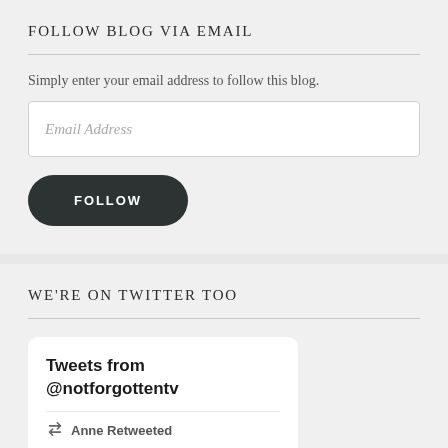FOLLOW BLOG VIA EMAIL
Simply enter your email address to follow this blog.
[Figure (screenshot): Email Address input field (white box with placeholder text 'Email Address')]
[Figure (screenshot): Dark rounded FOLLOW button]
WE'RE ON TWITTER TOO
[Figure (screenshot): Twitter widget card showing 'Tweets from @notforgottentv' with an Anne Retweeted entry and a teal avatar circle]